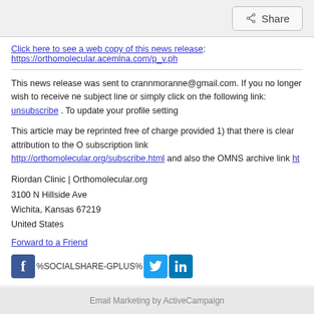Share
Click here to see a web copy of this news release: https://orthomolecular.acemlna.com/p_v.ph
This news release was sent to crannmoranne@gmail.com. If you no longer wish to receive ne subject line or simply click on the following link: unsubscribe . To update your profile setting
This article may be reprinted free of charge provided 1) that there is clear attribution to the O subscription link http://orthomolecular.org/subscribe.html and also the OMNS archive link ht
Riordan Clinic | Orthomolecular.org
3100 N Hillside Ave
Wichita, Kansas 67219
United States
Forward to a Friend
[Figure (logo): Facebook, Twitter, LinkedIn social share icons with %SOCIALSHARE-GPLUS% text]
Email Marketing by ActiveCampaign